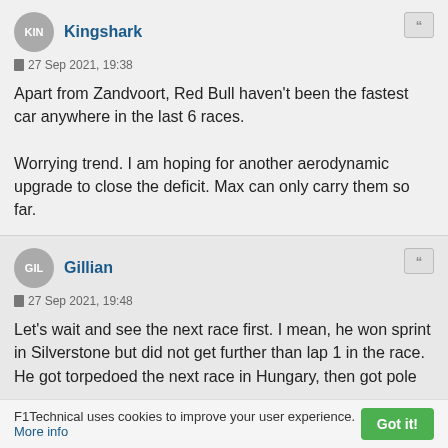KIN Kingshark
27 Sep 2021, 19:38
Apart from Zandvoort, Red Bull haven't been the fastest car anywhere in the last 6 races.

Worrying trend. I am hoping for another aerodynamic upgrade to close the deficit. Max can only carry them so far.
GIL Gillian
27 Sep 2021, 19:48
Let's wait and see the next race first. I mean, he won sprint in Silverstone but did not get further than lap 1 in the race. He got torpedoed the next race in Hungary, then got pole
F1Technical uses cookies to improve your user experience. More info  Got it!